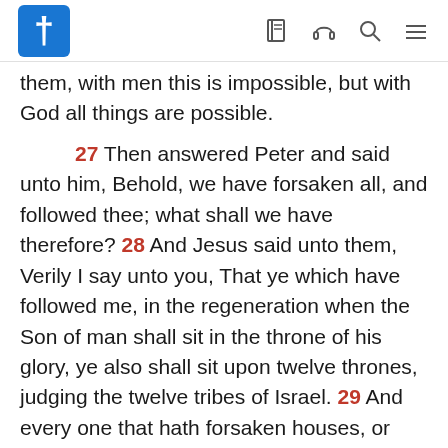Bible app header with logo and navigation icons
them, with men this is impossible, but with God all things are possible.
27 Then answered Peter and said unto him, Behold, we have forsaken all, and followed thee; what shall we have therefore? 28 And Jesus said unto them, Verily I say unto you, That ye which have followed me, in the regeneration when the Son of man shall sit in the throne of his glory, ye also shall sit upon twelve thrones, judging the twelve tribes of Israel. 29 And every one that hath forsaken houses, or brethren, or sisters, or father, or mother, or wife, or children, or lands, for my name's sake, shall receive an hundredfold, and shall inherit everlasting life. 30 But many that are first shall be last; and the last shall be first.